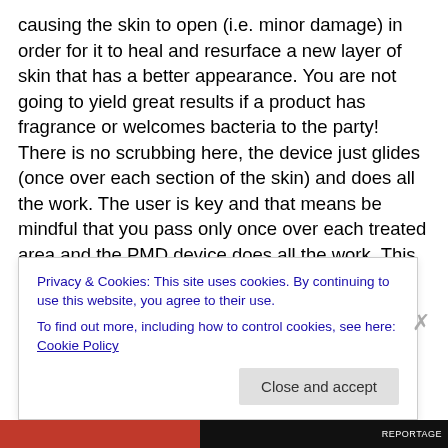causing the skin to open (i.e. minor damage) in order for it to heal and resurface a new layer of skin that has a better appearance. You are not going to yield great results if a product has fragrance or welcomes bacteria to the party! There is no scrubbing here, the device just glides (once over each section of the skin) and does all the work. The user is key and that means be mindful that you pass only once over each treated area and the PMD device does all the work. This unit can also be used for the face and body, and again easy as the discs clearly tell you what and where they can be used. I like having that option and
Privacy & Cookies: This site uses cookies. By continuing to use this website, you agree to their use.
To find out more, including how to control cookies, see here: Cookie Policy